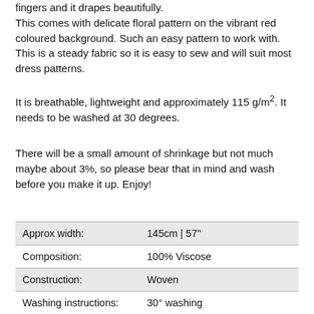fingers and it drapes beautifully. This comes with delicate floral pattern on the vibrant red coloured background. Such an easy pattern to work with.  This is a steady fabric so it is easy to sew and will suit most dress patterns.
It is breathable, lightweight and approximately 115 g/m². It needs to be washed at 30 degrees.
There will be a small amount of shrinkage but not much maybe about 3%, so please bear that in mind and wash before you make it up. Enjoy!
| Approx width: | 145cm | 57" |
| Composition: | 100% Viscose |
| Construction: | Woven |
| Washing instructions: | 30° washing |
| What can I make with this: | Dresses, Skirts, Trousers, |